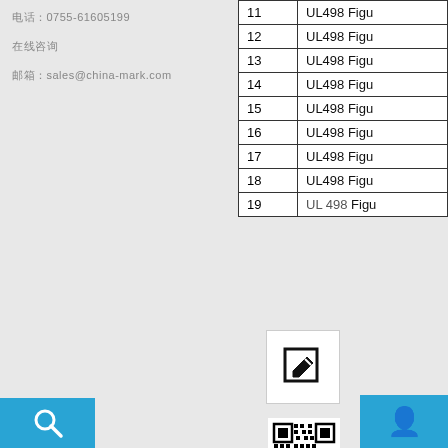电话：0755-61605199
在线咨询
邮箱：sales@china-mark.com
|  |  |
| --- | --- |
| 11 | UL498 Figu |
| 12 | UL498 Figu |
| 13 | UL498 Figu |
| 14 | UL498 Figu |
| 15 | UL498 Figu |
| 16 | UL498 Figu |
| 17 | UL498 Figu |
| 18 | UL498 Figu |
| 19 | UL498 Figu |
[Figure (other): Edit/write icon button]
[Figure (other): QR code image]
扫描二维码关注AS（部分截断）
扫描关注IP（部分截断）
在线客服
[Figure (other): Search icon in blue bar at bottom left]